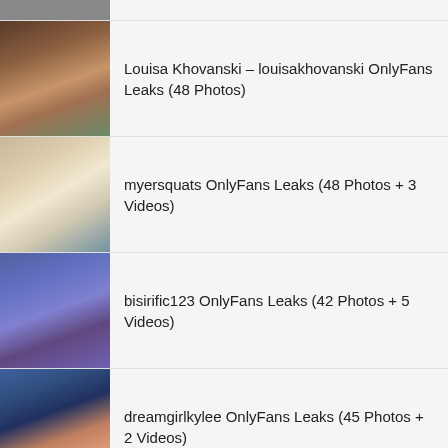Louisa Khovanski – louisakhovanski OnlyFans Leaks (48 Photos)
myersquats OnlyFans Leaks (48 Photos + 3 Videos)
bisirific123 OnlyFans Leaks (42 Photos + 5 Videos)
dreamgirlkylee OnlyFans Leaks (45 Photos + 2 Videos)
Natalia Luvs OnlyFans Leaks (40 Photos)